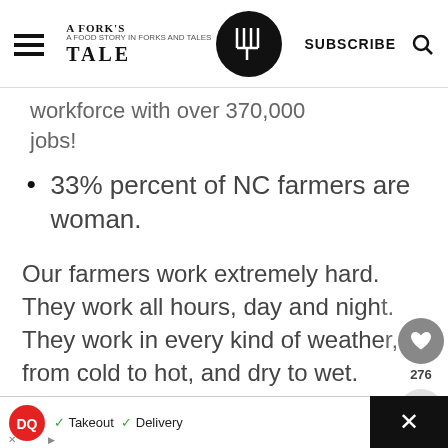A Fork's Tale — SUBSCRIBE
workforce with over 370,000 jobs!
33% percent of NC farmers are woman.
Our farmers work extremely hard. They work all hours, day and night. They work in every kind of weather, from cold to hot, and dry to wet.